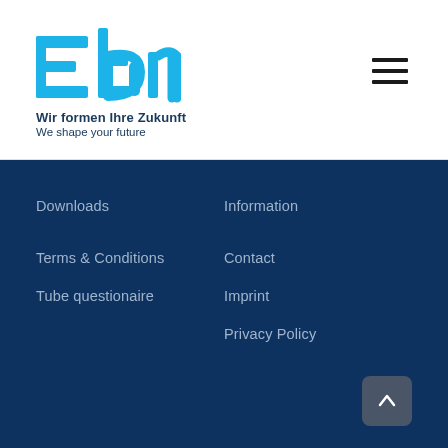[Figure (logo): Ebm company logo in blue with stylized letters E, b, m]
Wir formen Ihre Zukunft
We shape your future
Downloads
Information
Terms & Conditions
Contact
Tube questionaire
Imprint
Privacy Policy